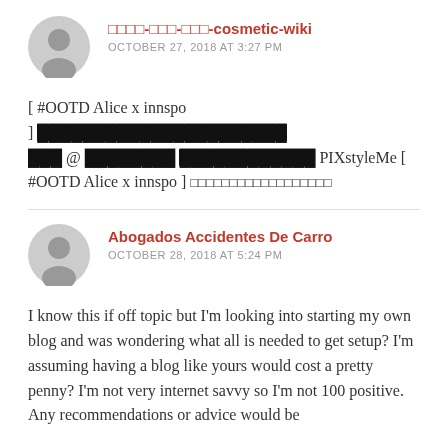□□□□-□□□-□□□-cosmetic-wiki — OCTOBER 27, 2018 AT 3:27 PM
[ #OOTD Alice x innspo ] ████████████████████ ███ @ ████████ ████████████ PIXstyleMe [ #OOTD Alice x innspo ] □□□□□□□□□□□□□□□□□□
Abogados Accidentes De Carro — OCTOBER 28, 2018 AT 5:24 PM
I know this if off topic but I'm looking into starting my own blog and was wondering what all is needed to get setup? I'm assuming having a blog like yours would cost a pretty penny? I'm not very internet savvy so I'm not 100 positive. Any recommendations or advice would be